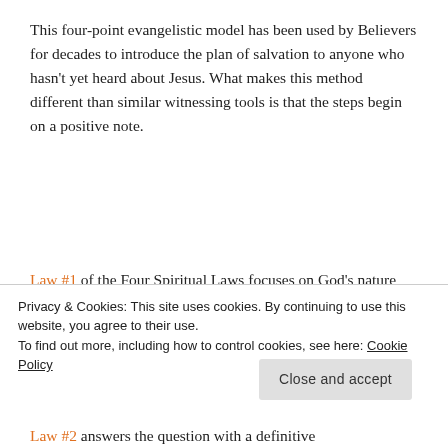This four-point evangelistic model has been used by Believers for decades to introduce the plan of salvation to anyone who hasn't yet heard about Jesus. What makes this method different than similar witnessing tools is that the steps begin on a positive note.
Law #1 of the Four Spiritual Laws focuses on God's nature and his intent toward humanity. Using John 3:16 as a reference, this first law describes God's love for the world, as demonstrated through the sacrifice
Privacy & Cookies: This site uses cookies. By continuing to use this website, you agree to their use.
To find out more, including how to control cookies, see here: Cookie Policy
Close and accept
Law #2 answers the question with a definitive